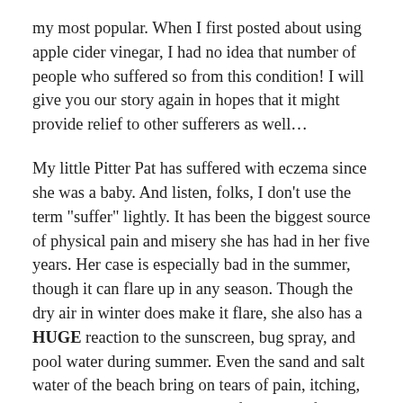my most popular. When I first posted about using apple cider vinegar, I had no idea that number of people who suffered so from this condition! I will give you our story again in hopes that it might provide relief to other sufferers as well...
My little Pitter Pat has suffered with eczema since she was a baby. And listen, folks, I don’t use the term “suffer” lightly. It has been the biggest source of physical pain and misery she has had in her five years. Her case is especially bad in the summer, though it can flare up in any season. Though the dry air in winter does make it flare, she also has a HUGE reaction to the sunscreen, bug spray, and pool water during summer. Even the sand and salt water of the beach bring on tears of pain, itching, and burning. We have had our fair share of screaming and inconsolability over her eczema,